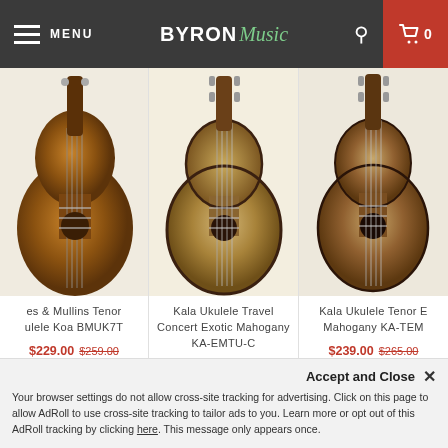MENU | BYRON Music | Search | Cart 0
[Figure (photo): Partial view of a ukulele with koa wood finish - Beres & Mullins Tenor Ukulele Koa BMUK7T]
es & Mullins Tenor ulele Koa BMUK7T
$229.00 $259.00
STORE | ✓ ONLINE
[Figure (photo): Kala ukulele with exotic mahogany wood finish - travel concert size]
Kala Ukulele Travel Concert Exotic Mahogany KA-EMTU-C
$249.00 $275.00
✓ IN STORE | ✓ ONLINE
[Figure (photo): Kala Ukulele Tenor with mahogany finish - KA-TEM]
Kala Ukulele Tenor E Mahogany KA-TEM
$239.00 $265.00
✗ IN STORE | ✓ ONLINE
Accept and Close ✕
Your browser settings do not allow cross-site tracking for advertising. Click on this page to allow AdRoll to use cross-site tracking to tailor ads to you. Learn more or opt out of this AdRoll tracking by clicking here. This message only appears once.